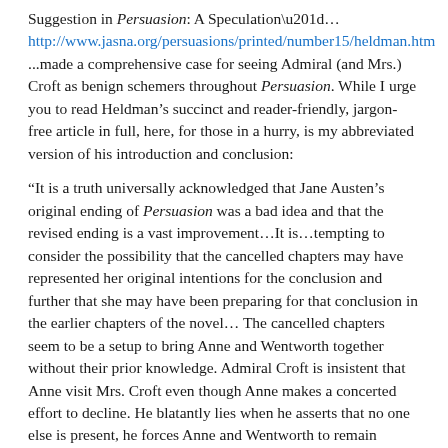Suggestion in Persuasion: A Speculation”… http://www.jasna.org/persuasions/printed/number15/heldman.htm ...made a comprehensive case for seeing Admiral (and Mrs.) Croft as benign schemers throughout Persuasion. While I urge you to read Heldman’s succinct and reader-friendly, jargon-free article in full, here, for those in a hurry, is my abbreviated version of his introduction and conclusion:
“It is a truth universally acknowledged that Jane Austen’s original ending of Persuasion was a bad idea and that the revised ending is a vast improvement…It is…tempting to consider the possibility that the cancelled chapters may have represented her original intentions for the conclusion and further that she may have been preparing for that conclusion in the earlier chapters of the novel… The cancelled chapters seem to be a setup to bring Anne and Wentworth together without their prior knowledge. Admiral Croft is insistent that Anne visit Mrs. Croft even though Anne makes a concerted effort to decline. He blatantly lies when he asserts that no one else is present, he forces Anne and Wentworth to remain together after he leaves them, and he insists that Wentworth broach with Anne the subject that leads to their reconciliation. …it is totally out of keeping with the characters of Anne and Wentworth